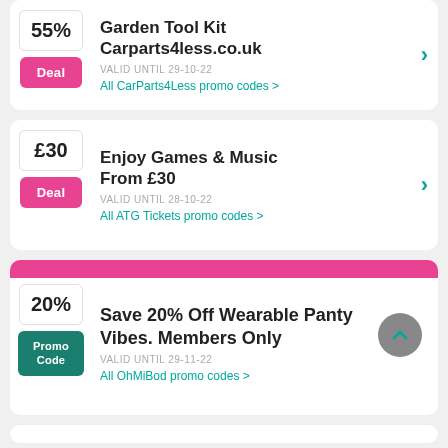55% - Garden Tool Kit - Carparts4less.co.uk - Deal - VALID UNTIL 29-10-22 - All CarParts4Less promo codes >
£30 - Enjoy Games & Music From £30 - Deal - VALID UNTIL 28-10-22 - All ATG Tickets promo codes >
20% - Save 20% Off Wearable Panty Vibes. Members Only - Promo Code - VALID UNTIL 29-11-22 - All OhMiBod promo codes >